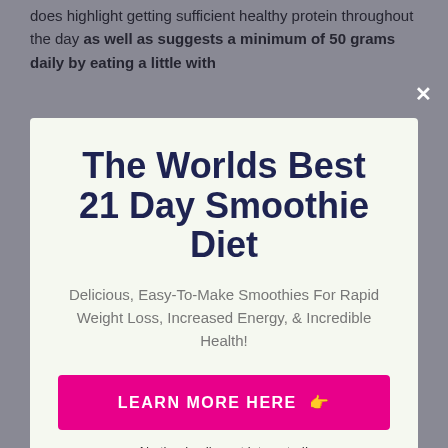does highlight getting sufficient healthy protein throughout the day as well as suggests a minimum of 50 grams daily by eating a little with
The Worlds Best 21 Day Smoothie Diet
Delicious, Easy-To-Make Smoothies For Rapid Weight Loss, Increased Energy, & Incredible Health!
LEARN MORE HERE 👉
No thanks, I'm not interested!
that you avoid a smoothie based diet regimen as well as try other, healthier strategies rather.